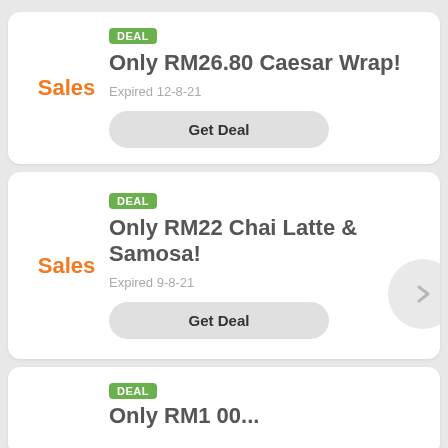Sales
DEAL
Only RM26.80 Caesar Wrap!
Expired 12-8-21
Get Deal
Sales
DEAL
Only RM22 Chai Latte & Samosa!
Expired 9-8-21
Get Deal
DEAL
Only RM1 00...